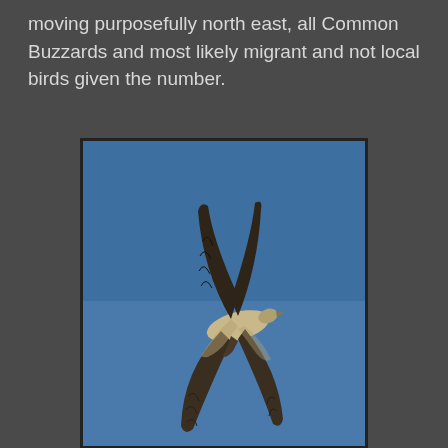moving purposefully north east, all Common Buzzards and most likely migrant and not local birds given the number.
[Figure (photo): A bird in flight photographed against a clear blue sky, viewed from below/side showing wings extended upward, brown/dark plumage on upper wing surfaces and pale underparts. Likely a wading bird or shorebird in flight.]